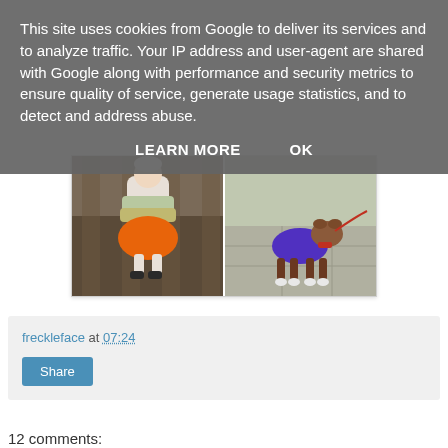This site uses cookies from Google to deliver its services and to analyze traffic. Your IP address and user-agent are shared with Google along with performance and security metrics to ensure quality of service, generate usage statistics, and to detect and address abuse.
LEARN MORE    OK
[Figure (photo): Two photos side by side: left shows a knitted doll/figurine in orange skirt and sweater sitting on what appears to be a wooden surface; right shows a dog wearing a purple coat/jacket walking on a paved sidewalk.]
freckleface at 07:24
Share
12 comments: